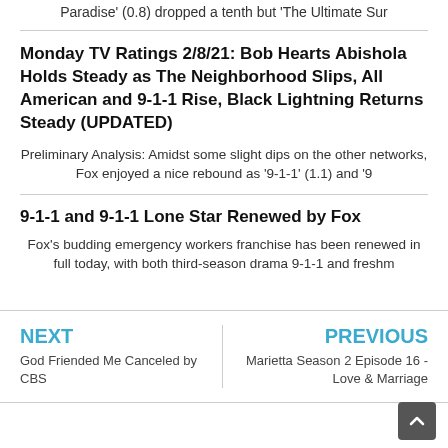Paradise' (0.8) dropped a tenth but 'The Ultimate Sur
Monday TV Ratings 2/8/21: Bob Hearts Abishola Holds Steady as The Neighborhood Slips, All American and 9-1-1 Rise, Black Lightning Returns Steady (UPDATED)
Preliminary Analysis: Amidst some slight dips on the other networks, Fox enjoyed a nice rebound as '9-1-1' (1.1) and '9
9-1-1 and 9-1-1 Lone Star Renewed by Fox
Fox's budding emergency workers franchise has been renewed in full today, with both third-season drama 9-1-1 and freshm
NEXT
God Friended Me Canceled by CBS
PREVIOUS
Marietta Season 2 Episode 16 - Love & Marriage